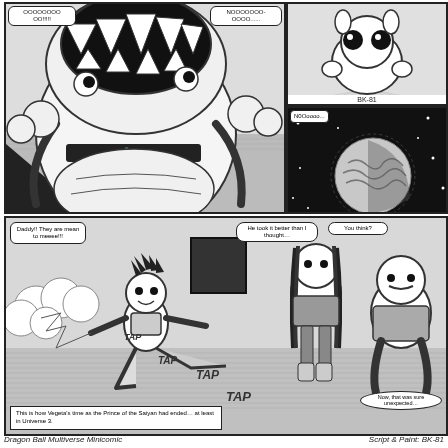[Figure (illustration): Manga panel showing a large monster/creature with open mouth roaring, with speech text 'OOOOOOOO!!!!!!' and 'NOOOOOOO-OOOO......']
[Figure (illustration): Small manga panel showing a cute round character labeled BK-81]
[Figure (illustration): Manga panel showing a dark space scene with a planet, speech bubble 'N0Ooooo...']
[Figure (illustration): Large bottom manga panel showing Vegeta as a child being flung away with TAP sound effects, Raditz and Nappa watching. Speech bubbles: 'Daddy!! They are mean to meeee!!!', 'He took it better than I thought…', 'You think?', 'Now, that was sure unexpected…'. Caption: 'This is how Vegeta's time as the Prince of the Saiyan had ended… at least in Universe 3.']
Dragon Ball Multiverse Minicomic                    Script & Paint: BK-81